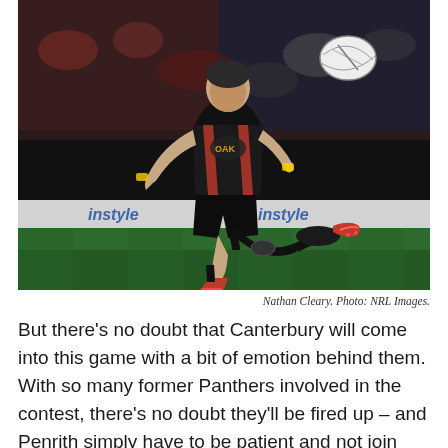[Figure (photo): Nathan Cleary in a black Penrith Panthers kit kicking a rugby league ball during a night match, crowd visible in background, advertising boards along the sideline]
Nathan Cleary. Photo: NRL Images.
But there's no doubt that Canterbury will come into this game with a bit of emotion behind them. With so many former Panthers involved in the contest, there's no doubt they'll be fired up – and Penrith simply have to be patient and not join them in the scrap early. Stick to the plan, kick well and the points will come.